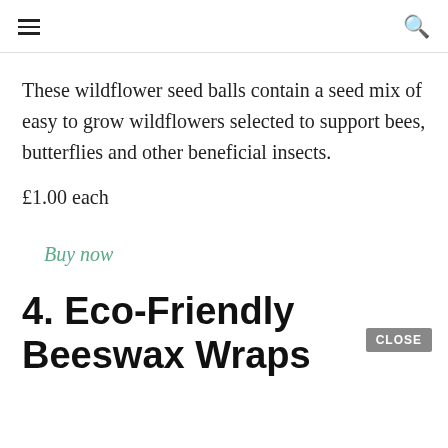≡  🔍
These wildflower seed balls contain a seed mix of easy to grow wildflowers selected to support bees, butterflies and other beneficial insects.
£1.00 each
Buy now
4. Eco-Friendly Beeswax Wraps